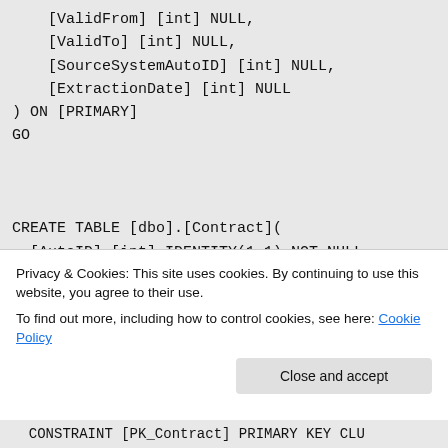[ValidFrom] [int] NULL,
    [ValidTo] [int] NULL,
    [SourceSystemAutoID] [int] NULL,
    [ExtractionDate] [int] NULL
) ON [PRIMARY]
GO

CREATE TABLE [dbo].[Contract](
    [AutoID] [int] IDENTITY(1,1) NOT NULL,
    [ContractID] [varchar](50) NULL,
Privacy & Cookies: This site uses cookies. By continuing to use this website, you agree to their use.
To find out more, including how to control cookies, see here: Cookie Policy
CONSTRAINT [PK_Contract] PRIMARY KEY CLU